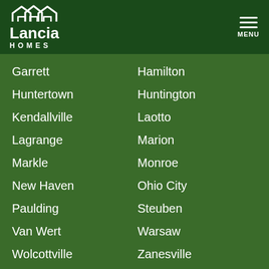[Figure (logo): Lancia Homes logo with house silhouette icon and MENU hamburger button]
Garrett
Hamilton
Huntertown
Huntington
Kendallville
Laotto
Lagrange
Marion
Markle
Monroe
New Haven
Ohio City
Paulding
Steuben
Van Wert
Warsaw
Wolcottville
Zanesville
Lancia Homes
(260) 489-4433
[Figure (other): Social media icons: Facebook, Twitter, YouTube, Pinterest, Houzz, Instagram]